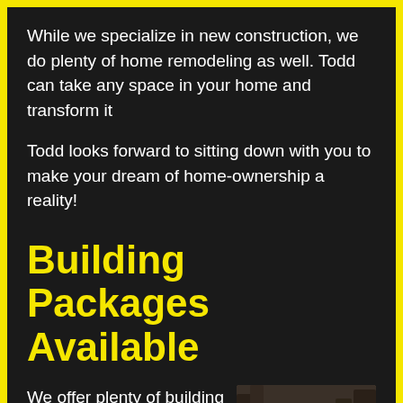While we specialize in new construction, we do plenty of home remodeling as well. Todd can take any space in your home and transform it
Todd looks forward to sitting down with you to make your dream of home-ownership a reality!
Building Packages Available
We offer plenty of building packages on our lots ready for construction in the area.
[Figure (photo): A stone monument sign reading 'Whispering Pines' surrounded by trees in a wooded setting]